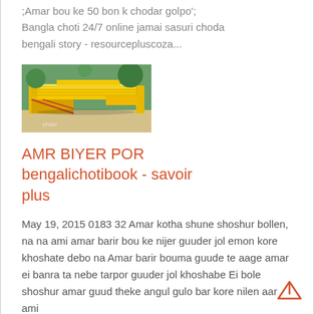;Amar bou ke 50 bon k chodar golpo'; Bangla choti 24/7 online jamai sasuri choda bengali story - resourcepluscoza...
[Figure (photo): Photo of yellow industrial conveyor or chute equipment on a green background]
AMR BIYER POR bengalichotibook - savoir plus
May 19, 2015 0183 32 Amar kotha shune shoshur bollen, na na ami amar barir bou ke nijer guuder jol emon kore khoshate debo na Amar barir bouma guude te aage amar ei banra ta nebe tarpor guuder jol khoshabe Ei bole shoshur amar guud theke angul gulo bar kore nilen aar ami